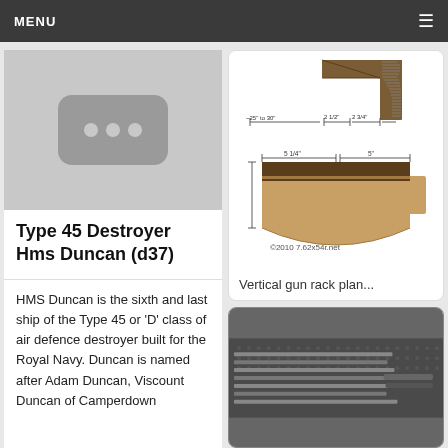MENU
[Figure (photo): Gray placeholder image with three dots icon for Type 45 Destroyer Hms Duncan article]
Type 45 Destroyer Hms Duncan (d37)
HMS Duncan is the sixth and last ship of the Type 45 or 'D' class of air defence destroyer built for the Royal Navy. Duncan is named after Adam Duncan, Viscount Duncan of Camperdown
[Figure (engineering-diagram): Vertical gun rack plan diagram showing woodworking schematic with dimensions: ~25' to 30', 2 1/2', 2 3/4', 5 1/4', 5'. Copyright 2010 7.62x54r.net]
Vertical gun rack plan...
[Figure (photo): Dark photo showing multiple rifles stored horizontally on a gun rack with pegboard]